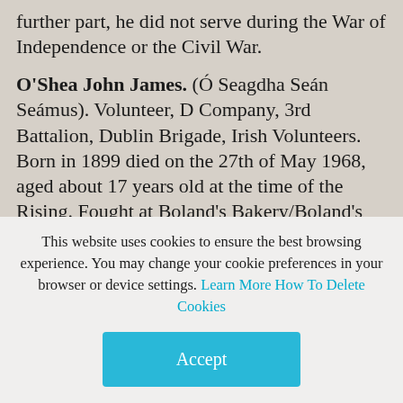further part, he did not serve during the War of Independence or the Civil War.
O'Shea John James. (Ó Seagdha Seán Seámus). Volunteer, D Company, 3rd Battalion, Dublin Brigade, Irish Volunteers. Born in 1899 died on the 27th of May 1968, aged about 17 years old at the time of the Rising. Fought at Boland's Bakery/Boland's
This website uses cookies to ensure the best browsing experience. You may change your cookie preferences in your browser or device settings. Learn More How To Delete Cookies
Accept